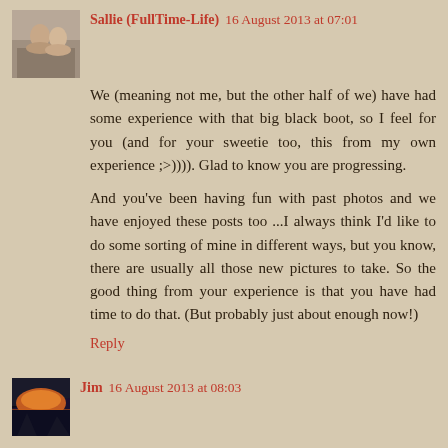[Figure (photo): Avatar photo of Sallie, showing two people]
Sallie (FullTime-Life) 16 August 2013 at 07:01
We (meaning not me, but the other half of we) have had some experience with that big black boot, so I feel for you (and for your sweetie too, this from my own experience ;>)))). Glad to know you are progressing.
And you've been having fun with past photos and we have enjoyed these posts too ...I always think I'd like to do some sorting of mine in different ways, but you know, there are usually all those new pictures to take. So the good thing from your experience is that you have had time to do that. (But probably just about enough now!)
Reply
[Figure (photo): Avatar photo of Jim, showing a sunset landscape]
Jim 16 August 2013 at 08:03
A variety
Reply
[Figure (photo): Avatar photo of eileeninmd]
eileeninmd 16 August 2013 at 09:09